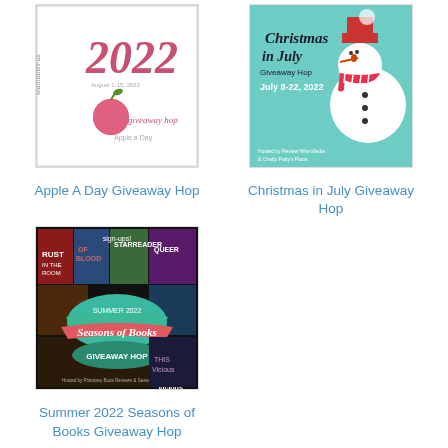[Figure (illustration): Apple A Day Giveaway Hop 2022 promotional image with MamatheFox branding, showing a pink apple and stylized '2022' text, dated August 1-15, 2022]
Apple A Day Giveaway Hop
[Figure (illustration): Christmas in July Giveaway Hop promotional image with snowman wearing Santa hat and candy cane scarf, dated July 8-22, 2022, hosted by Review Wire Media & Chatty Patty's Place]
Christmas in July Giveaway Hop
[Figure (illustration): Summer 2022 Seasons of Books Giveaway Hop promotional image featuring a collage of book covers with a banner reading 'Seasons of Books' and 'GIVEAWAY HOP']
Summer 2022 Seasons of Books Giveaway Hop